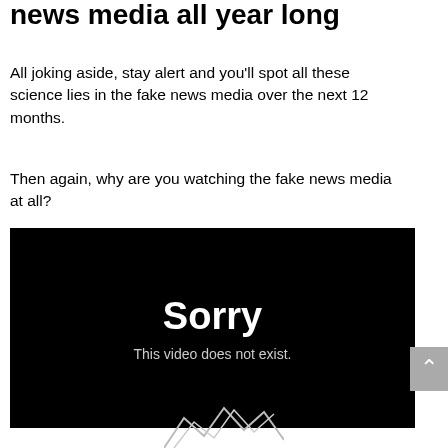news media all year long
All joking aside, stay alert and you'll spot all these science lies in the fake news media over the next 12 months.
Then again, why are you watching the fake news media at all?
[Figure (screenshot): Embedded video player showing an error screen with large white bold text 'Sorry' and smaller text 'This video does not exist.' on a black background.]
[Figure (logo): Partial logo graphic at the bottom center of the page, showing stylized mountain/chevron shapes in light gray outline.]